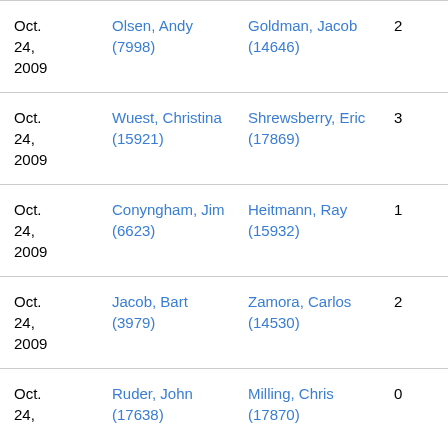| Date | Person 1 | Person 2 | Col4 | Col5 |
| --- | --- | --- | --- | --- |
| Oct. 24, 2009 | Olsen, Andy (7998) | Goldman, Jacob (14646) | 2 | 0 |
| Oct. 24, 2009 | Wuest, Christina (15921) | Shrewsberry, Eric (17869) | 3 | 0 |
| Oct. 24, 2009 | Conyngham, Jim (6623) | Heitmann, Ray (15932) | 1 | 0 |
| Oct. 24, 2009 | Jacob, Bart (3979) | Zamora, Carlos (14530) | 2 | 0 |
| Oct. 24, | Ruder, John (17638) | Milling, Chris (17870) | 0 | 7 |